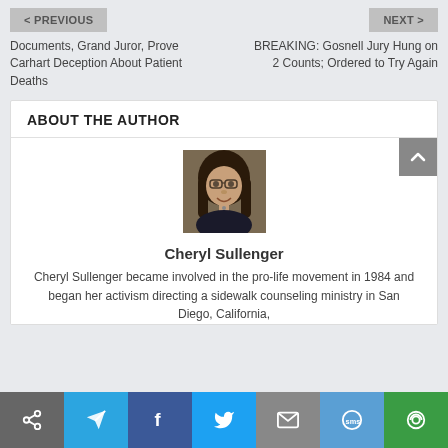< PREVIOUS
NEXT >
Documents, Grand Juror, Prove Carhart Deception About Patient Deaths
BREAKING: Gosnell Jury Hung on 2 Counts; Ordered to Try Again
ABOUT THE AUTHOR
[Figure (photo): Headshot of Cheryl Sullenger, a woman with glasses and long dark hair, smiling, wearing a dark top.]
Cheryl Sullenger
Cheryl Sullenger became involved in the pro-life movement in 1984 and began her activism directing a sidewalk counseling ministry in San Diego, California,